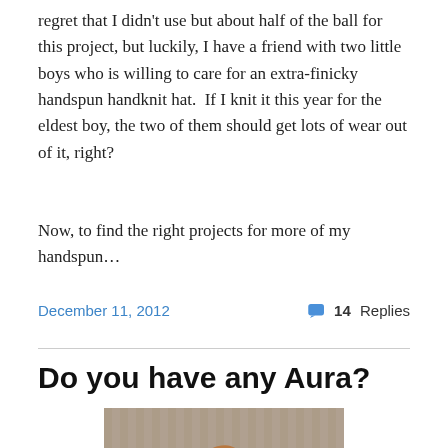regret that I didn't use but about half of the ball for this project, but luckily, I have a friend with two little boys who is willing to care for an extra-finicky handspun handknit hat.  If I knit it this year for the eldest boy, the two of them should get lots of wear out of it, right?
Now, to find the right projects for more of my handspun…
December 11, 2012    💬 14 Replies
Do you have any Aura?
[Figure (photo): A wooden drop spindle or spinning tool hanging on a wall, with a rounded base and upper arm pieces, photographed indoors.]